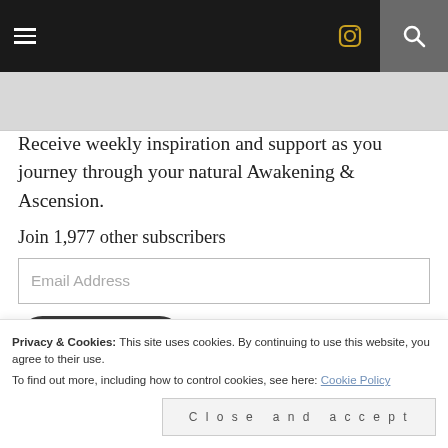Navigation bar with hamburger menu, Instagram icon, and search icon
[Figure (screenshot): Partial banner image at top of content area]
Receive weekly inspiration and support as you journey through your natural Awakening & Ascension.
Join 1,977 other subscribers
Email Address (input field)
Subscribe (button)
Privacy & Cookies: This site uses cookies. By continuing to use this website, you agree to their use.
To find out more, including how to control cookies, see here: Cookie Policy
Close and accept